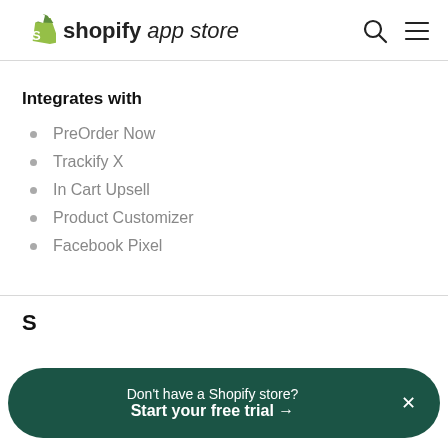shopify app store
Integrates with
PreOrder Now
Trackify X
In Cart Upsell
Product Customizer
Facebook Pixel
Don't have a Shopify store? Start your free trial →